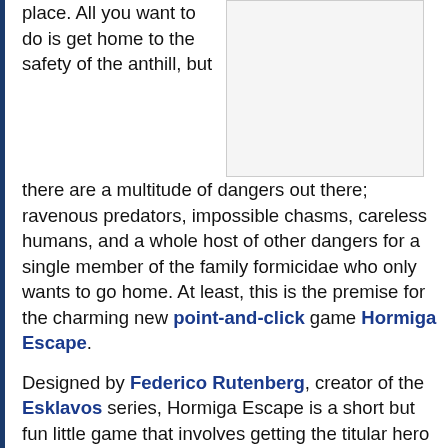place. All you want to do is get home to the safety of the anthill, but there are a multitude of dangers out there; ravenous predators, impossible chasms, careless humans, and a whole host of other dangers for a single member of the family formicidae who only wants to go home. At least, this is the premise for the charming new point-and-click game Hormiga Escape.
[Figure (other): Screenshot or image placeholder, white/light gray box with border]
Designed by Federico Rutenberg, creator of the Esklavos series, Hormiga Escape is a short but fun little game that involves getting the titular hero home before he is eaten, drowned, crushed, or otherwise mangled by his environment. Not exactly an escape so